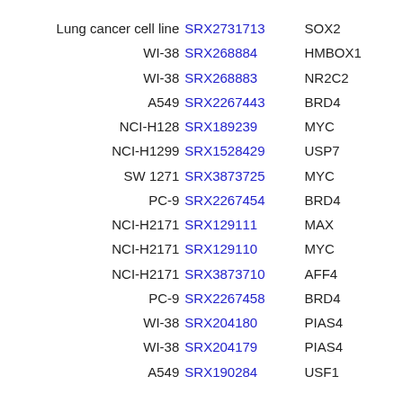| Cell Line | SRX ID | Gene |  |
| --- | --- | --- | --- |
| Lung cancer cell line | SRX2731713 | SOX2 |  |
| WI-38 | SRX268884 | HMBOX1 |  |
| WI-38 | SRX268883 | NR2C2 |  |
| A549 | SRX2267443 | BRD4 |  |
| NCI-H128 | SRX189239 | MYC |  |
| NCI-H1299 | SRX1528429 | USP7 |  |
| SW 1271 | SRX3873725 | MYC |  |
| PC-9 | SRX2267454 | BRD4 |  |
| NCI-H2171 | SRX129111 | MAX |  |
| NCI-H2171 | SRX129110 | MYC |  |
| NCI-H2171 | SRX3873710 | AFF4 |  |
| PC-9 | SRX2267458 | BRD4 |  |
| WI-38 | SRX204180 | PIAS4 |  |
| WI-38 | SRX204179 | PIAS4 |  |
| A549 | SRX190284 | USF1 |  |